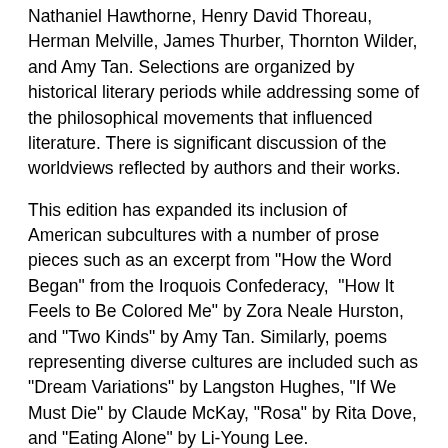Nathaniel Hawthorne, Henry David Thoreau, Herman Melville, James Thurber, Thornton Wilder, and Amy Tan. Selections are organized by historical literary periods while addressing some of the philosophical movements that influenced literature. There is significant discussion of the worldviews reflected by authors and their works.
This edition has expanded its inclusion of American subcultures with a number of prose pieces such as an excerpt from "How the Word Began" from the Iroquois Confederacy, "How It Feels to Be Colored Me" by Zora Neale Hurston, and "Two Kinds" by Amy Tan. Similarly, poems representing diverse cultures are included such as "Dream Variations" by Langston Hughes, "If We Must Die" by Claude McKay, "Rosa" by Rita Dove, and "Eating Alone" by Li-Young Lee.
Brief writing assignments are presented throughout the textbook, and there are six major writing lessons: narrative essay, persuasive essay, short story, historical report, poetry, and literary analysis essay.